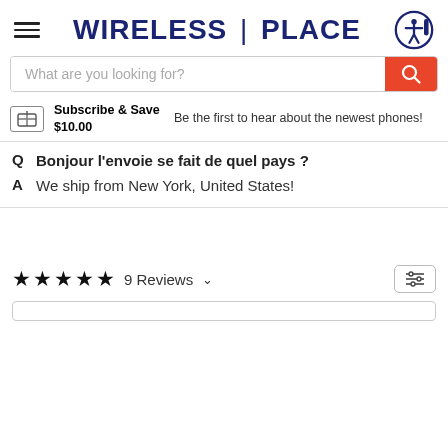[Figure (logo): Wireless Place logo with hamburger menu and accessibility icon]
What are you looking for?
Subscribe & Save $10.00  Be the first to hear about the newest phones!
Q  Bonjour l'envoie se fait de quel pays ?
A  We ship from New York, United States!
9 Reviews